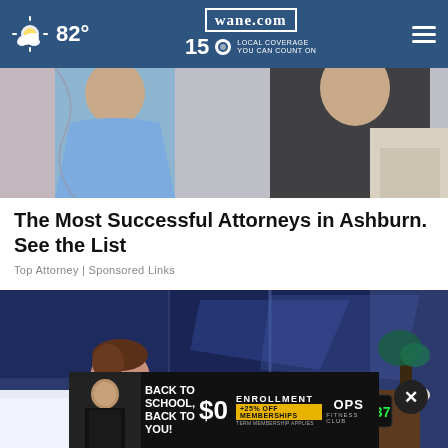82° | wane.com | 15 LOCAL COVERAGE YOU CAN COUNT ON
[Figure (photo): Partial view of people dressed formally, one in a blue dress]
The Most Successful Attorneys in Ashburn. See the List
Top Attorney | Sponsored Links
[Figure (illustration): Animated illustration of a young man lying in bed, clock showing 01:37, dark blue bedroom background]
[Figure (photo): OPS Fitness Club advertisement: BACK TO SCHOOL, BACK TO YOU! $0 ENROLLMENT +25% OFF MEMBERSHIPS TERM MEMBERSHIP APPLIES]